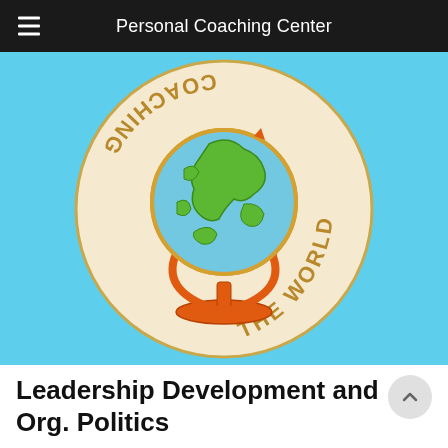Personal Coaching Center
[Figure (logo): Circular logo with a globe/world map on a stand, surrounded by text 'COACHING THE WORLD' in golden letters on a cream background, against a light blue (sky blue) background.]
Leadership Development and Org. Politics